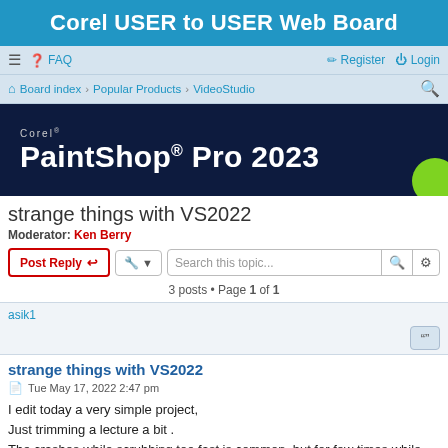Corel USER to USER Web Board
≡  FAQ    Register  Login
Board index › Popular Products › VideoStudio
[Figure (illustration): Corel PaintShop Pro 2023 dark navy banner advertisement with green circle accent]
strange things with VS2022
Moderator: Ken Berry
Post Reply   [tools]   Search this topic...   3 posts • Page 1 of 1
asik1
strange things with VS2022
Tue May 17, 2022 2:47 pm
I edit today a very simple project,
Just trimming a lecture a bit .
The crashes while scrubbing too fast is common, but for few times while